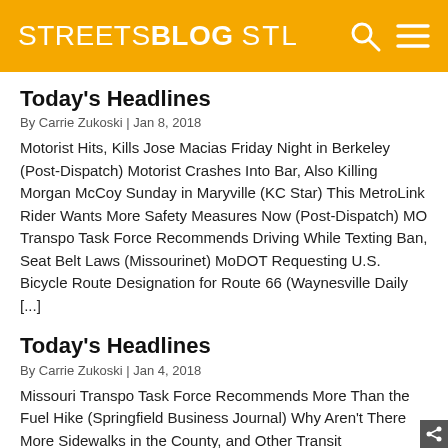STREETSBLOG STL
Today's Headlines
By Carrie Zukoski | Jan 8, 2018
Motorist Hits, Kills Jose Macias Friday Night in Berkeley (Post-Dispatch) Motorist Crashes Into Bar, Also Killing Morgan McCoy Sunday in Maryville (KC Star) This MetroLink Rider Wants More Safety Measures Now (Post-Dispatch) MO Transpo Task Force Recommends Driving While Texting Ban, Seat Belt Laws (Missourinet) MoDOT Requesting U.S. Bicycle Route Designation for Route 66 (Waynesville Daily [...])
Today's Headlines
By Carrie Zukoski | Jan 4, 2018
Missouri Transpo Task Force Recommends More Than the Fuel Hike (Springfield Business Journal) Why Aren't There More Sidewalks in the County, and Other Transit